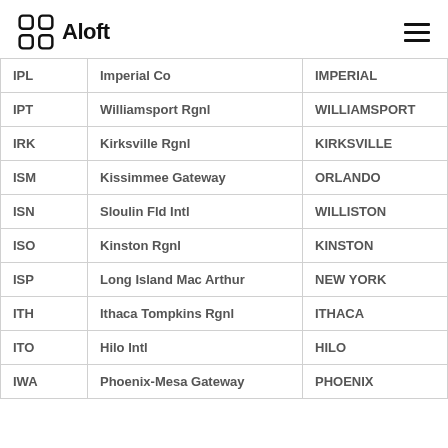Aloft
| Code | Airport | City |
| --- | --- | --- |
| IPL | Imperial Co | IMPERIAL |
| IPT | Williamsport Rgnl | WILLIAMSPORT |
| IRK | Kirksville Rgnl | KIRKSVILLE |
| ISM | Kissimmee Gateway | ORLANDO |
| ISN | Sloulin Fld Intl | WILLISTON |
| ISO | Kinston Rgnl | KINSTON |
| ISP | Long Island Mac Arthur | NEW YORK |
| ITH | Ithaca Tompkins Rgnl | ITHACA |
| ITO | Hilo Intl | HILO |
| IWA | Phoenix-Mesa Gateway | PHOENIX |